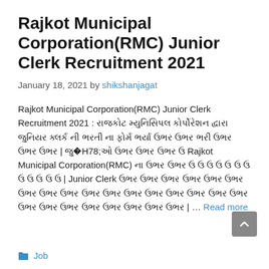Rajkot Municipal Corporation(RMC) Junior Clerk Recruitment 2021
January 18, 2021 by shikshanjagat
Rajkot Municipal Corporation(RMC) Junior Clerk Recruitment 2021 : રાજકોટ મ્યુનિસિપલ કોર્પોરેશન દ્વારા જુનિયર ક્લર્ક ની ભરતી ના ફોર્મ ભર્યા ઉભ ઉભ ભરી ઉભ . જુઓ ઉભ ઉભ ઉ Rajkot Municipal Corporation(RMC) ના ઉભ ઉભ ઉ ઉ ઉ ઉ ઉ ઉ ઉ ઉ ઉ ઉ ઉ ઉ | Junior Clerk ઉ ઉ ઉ ઉ ઉ ઉ ઉ ઉ ઉ ઉ ઉ ઉ ઉ ઉ ઉ ઉ ઉ ઉ ઉ ઉ ઉ ઉ ઉ ઉ ઉ | … Read more
Job